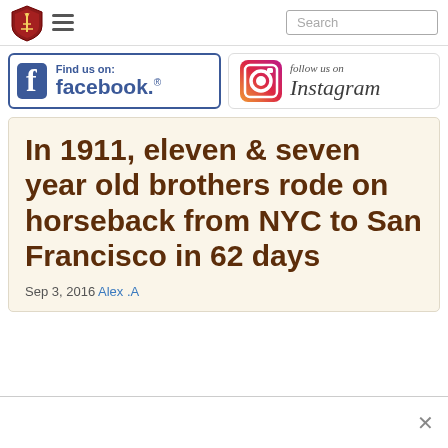Navigation bar with logo, hamburger menu, and search box
[Figure (logo): Facebook 'Find us on: facebook.' banner with blue border]
[Figure (logo): Instagram 'follow us on Instagram' banner with camera icon]
In 1911, eleven & seven year old brothers rode on horseback from NYC to San Francisco in 62 days
Sep 3, 2016 Alex .A